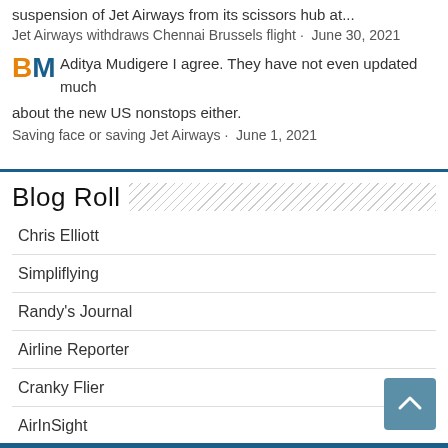suspension of Jet Airways from its scissors hub at...
Jet Airways withdraws Chennai Brussels flight · June 30, 2021
Aditya Mudigere I agree. They have not even updated much about the new US nonstops either.
Saving face or saving Jet Airways · June 1, 2021
Blog Roll
Chris Elliott
Simpliflying
Randy's Journal
Airline Reporter
Cranky Flier
AirInSight
Things with Wings